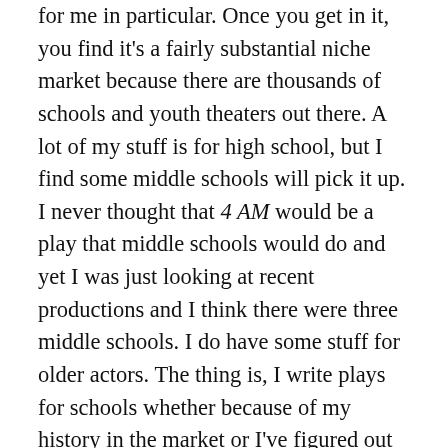for me in particular. Once you get in it, you find it's a fairly substantial niche market because there are thousands of schools and youth theaters out there. A lot of my stuff is for high school, but I find some middle schools will pick it up. I never thought that 4 AM would be a play that middle schools would do and yet I was just looking at recent productions and I think there were three middle schools. I do have some stuff for older actors. The thing is, I write plays for schools whether because of my history in the market or I've figured out how to do it in a way that people think they would like to put on their stages. I write it and it gets produced. It's fun to do that, especially since there are fewer outlets in the adult market. There's people carrying around a script that they've had for 10 years. And so, part of it is that I want my plays to be produced.